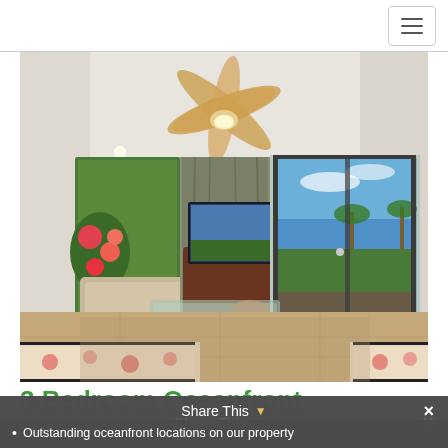Navigation menu button
[Figure (photo): Interior living room of an oceanfront vacation rental. The room features tropical floral sofas with black trim, a glass coffee table, a flat-screen TV on a dark red dresser, ceiling fan with light fixture, tile flooring, and large sliding glass doors opening to a lanai with ocean and palm tree views. Lush tropical flowers and plants visible through side windows.]
3 Bedroom Oceanfront
Share This
Outstanding oceanfront locations on our property